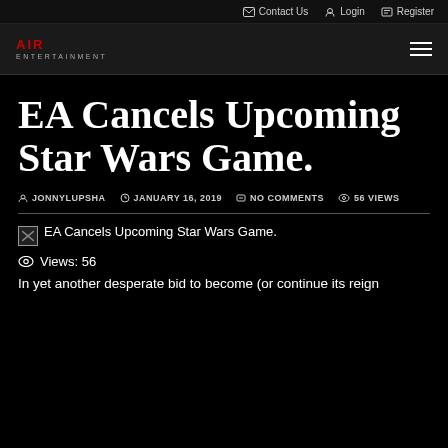Contact Us  Login  Register
[Figure (logo): AIR ENTERTAINMENT logo with red AIR text and grey ENTERTAINMENT text below]
EA Cancels Upcoming Star Wars Game.
JONNYLUPSHA  JANUARY 16, 2019  NO COMMENTS  56 VIEWS
[Figure (photo): Broken/missing image placeholder with caption: EA Cancels Upcoming Star Wars Game.]
EA Cancels Upcoming Star Wars Game.
Views: 56
In yet another desperate bid to become (or continue its reign...